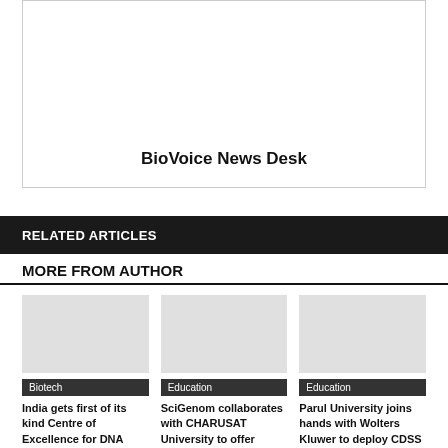[Figure (photo): Author box with white background and border, showing author name BioVoice News Desk]
BioVoice News Desk
RELATED ARTICLES
MORE FROM AUTHOR
[Figure (photo): Placeholder image for article about India Centre of Excellence for DNA Forensics]
Biotech
India gets first of its kind Centre of Excellence for DNA Forensics
[Figure (photo): Placeholder image for SciGenom CHARUSAT University article]
Education
SciGenom collaborates with CHARUSAT University to offer industry oriented
[Figure (photo): Placeholder image for Parul University Wolters Kluwer article]
Education
Parul University joins hands with Wolters Kluwer to deploy CDSS at its